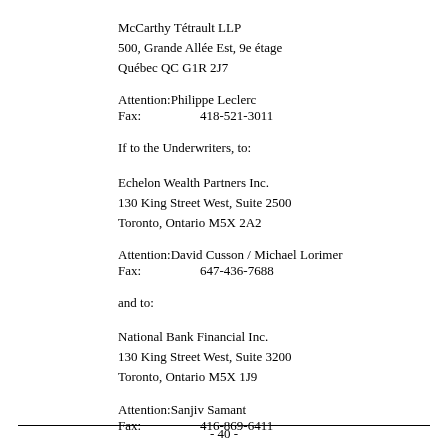McCarthy Tétrault LLP
500, Grande Allée Est, 9e étage
Québec QC G1R 2J7
Attention: Philippe Leclerc
Fax:       418-521-3011
If to the Underwriters, to:
Echelon Wealth Partners Inc.
130 King Street West, Suite 2500
Toronto, Ontario M5X 2A2
Attention: David Cusson / Michael Lorimer
Fax:       647-436-7688
and to:
National Bank Financial Inc.
130 King Street West, Suite 3200
Toronto, Ontario M5X 1J9
Attention: Sanjiv Samant
Fax:       416-869-6411
- 40 -